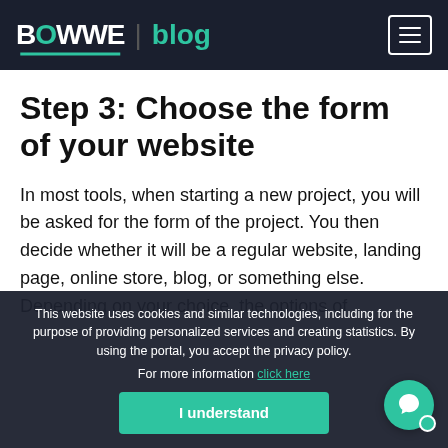BOWWE blog
Step 3: Choose the form of your website
In most tools, when starting a new project, you will be asked for the form of the project. You then decide whether it will be a regular website, landing page, online store, blog, or something else. Depending on your choice, the options of the project may later differ.
This website uses cookies and similar technologies, including for the purpose of providing personalized services and creating statistics. By using the portal, you accept the privacy policy. For more information click here
I understand